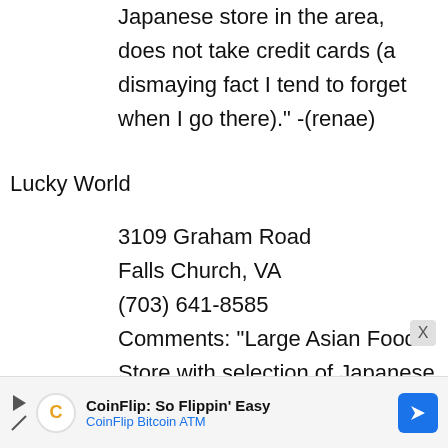Japanese store in the area, does not take credit cards (a dismaying fact I tend to forget when I go there)." -(renae)
Lucky World
3109 Graham Road
Falls Church, VA
(703) 641-8585
Comments: "Large Asian Food Store with selection of Japanese goods." -(anon)
CoinFlip: So Flippin' Easy
CoinFlip Bitcoin ATM